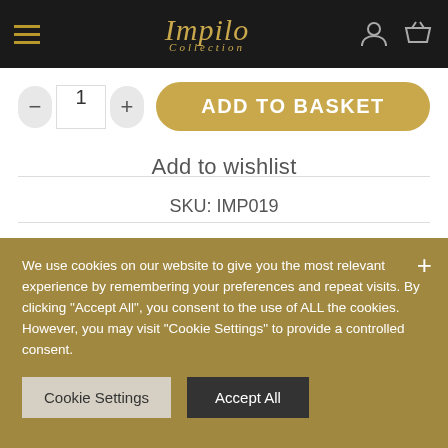Impilo Collection — navigation bar
- 1 + ADD TO BASKET
Add to wishlist
SKU: IMP019
Category: Earrings
USD
We use cookies on our website to give you the most relevant experience by remembering your preferences and repeat visits. By clicking "Accept All", you consent to the use of ALL the cookies. However, you may visit "Cookie Settings" to provide a controlled consent.
Cookie Settings   Accept All